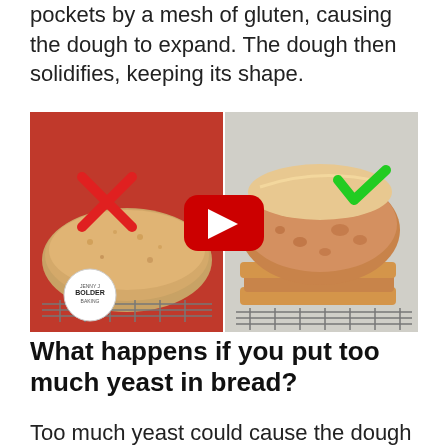pockets by a mesh of gluten, causing the dough to expand. The dough then solidifies, keeping its shape.
[Figure (photo): Side-by-side comparison image of two bread loaves. Left side shows a flat/dense bread with a red X mark on a red background, and a 'Bolder Baking' logo badge. Right side shows a well-risen crusty bread with a green checkmark. A YouTube play button is overlaid in the center.]
What happens if you put too much yeast in bread?
Too much yeast could cause the dough to go flat by releasing gas before the flour is ready